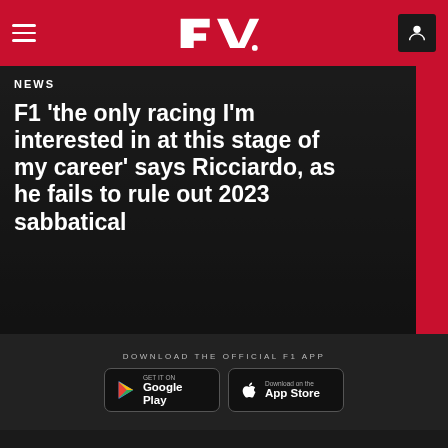F1 Navigation Bar
NEWS
F1 'the only racing I'm interested in at this stage of my career' says Ricciardo, as he fails to rule out 2023 sabbatical
DOWNLOAD THE OFFICIAL F1 APP
[Figure (logo): Google Play store button]
[Figure (logo): Apple App Store button]
[Figure (infographic): Social media icons: Facebook, Twitter, Instagram, YouTube]
Our partners >
[Figure (logo): Partner logos: Rolex, Heineken, Emirates]